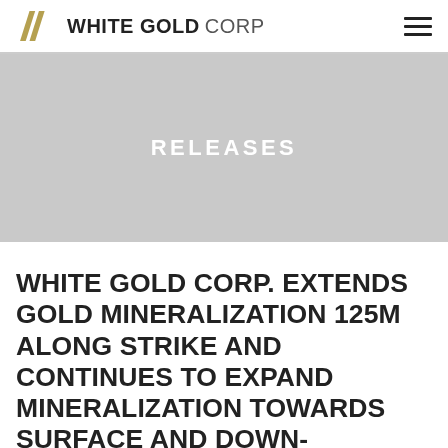WHITE GOLD CORP
[Figure (logo): White Gold Corp logo with two diagonal slash marks in gold/tan color followed by bold text WHITE GOLD CORP]
RELEASES
WHITE GOLD CORP. EXTENDS GOLD MINERALIZATION 125M ALONG STRIKE AND CONTINUES TO EXPAND MINERALIZATION TOWARDS SURFACE AND DOWN-